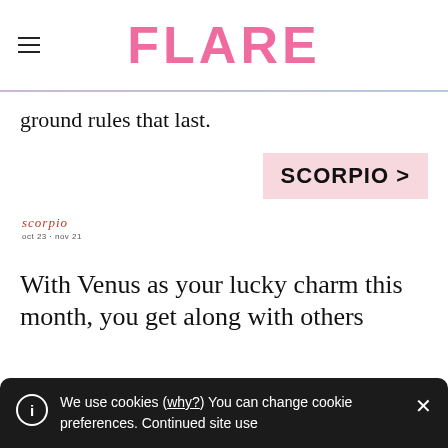FLARE
ground rules that last.
SCORPIO >
scorpio
oct 23 - nov 21
With Venus as your lucky charm this month, you get along with others
We use cookies (why?) You can change cookie preferences. Continued site use